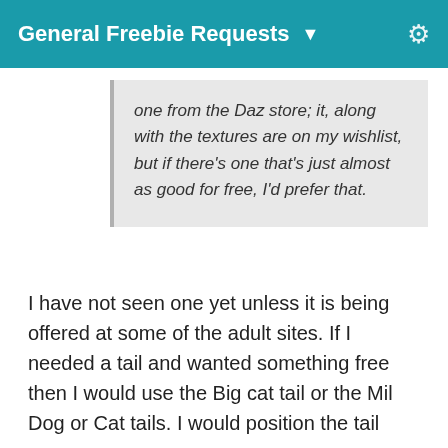General Freebie Requests
one from the Daz store; it, along with the textures are on my wishlist, but if there's one that's just almost as good for free, I'd prefer that.
I have not seen one yet unless it is being offered at some of the adult sites. If I needed a tail and wanted something free then I would use the Big cat tail or the Mil Dog or Cat tails. I would position the tail